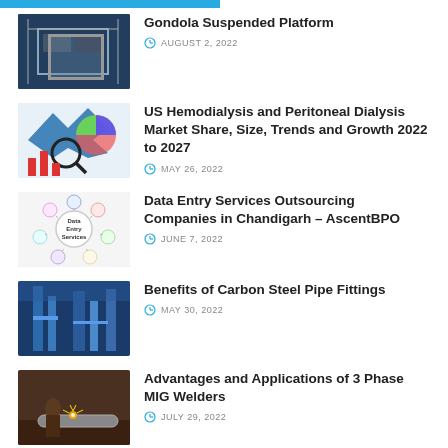Gondola Suspended Platform — AUGUST 2, 2022
US Hemodialysis and Peritoneal Dialysis Market Share, Size, Trends and Growth 2022 to 2027 — MAY 26, 2022
Data Entry Services Outsourcing Companies in Chandigarh – AscentBPO — JUNE 7, 2022
Benefits of Carbon Steel Pipe Fittings — MAY 30, 2022
Advantages and Applications of 3 Phase MIG Welders — JULY 29, 2022
Partial entry (cut off at bottom)